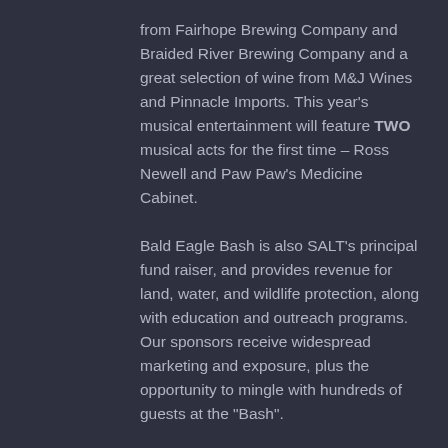from Fairhope Brewing Company and Braided River Brewing Company and a great selection of wine from M&J Wines and Pinnacle Imports. This year's musical entertainment will feature TWO musical acts for the first time – Ross Newell and Paw Paw's Medicine Cabinet.
Bald Eagle Bash is also SALT's principal fund raiser, and provides revenue for land, water, and wildlife protection, along with education and outreach programs. Our sponsors receive widespread marketing and exposure, plus the opportunity to mingle with hundreds of guests at the "Bash".